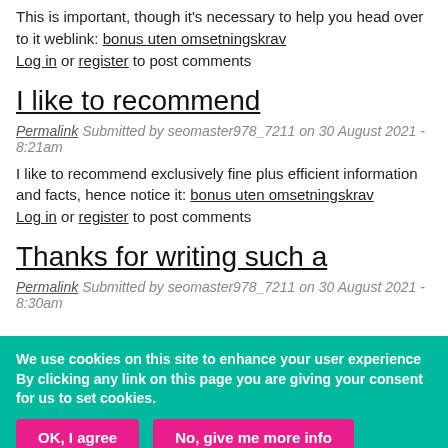This is important, though it's necessary to help you head over to it weblink: bonus uten omsetningskrav
Log in or register to post comments
I like to recommend
Permalink Submitted by seomaster978_7211 on 30 August 2021 - 8:21am
I like to recommend exclusively fine plus efficient information and facts, hence notice it: bonus uten omsetningskrav
Log in or register to post comments
Thanks for writing such a
Permalink Submitted by seomaster978_7211 on 30 August 2021 - 8:30am
We use cookies on this site to enhance your user experience By clicking any link on this page you are giving your consent for us to set cookies.